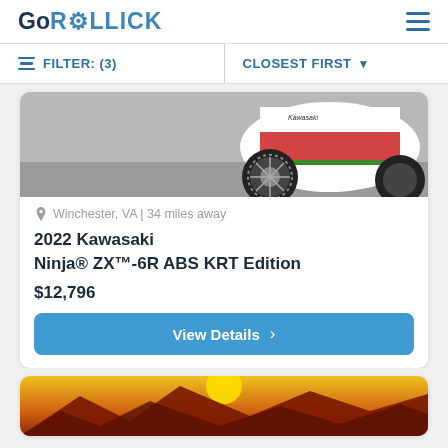GoROLLICK
FILTER: (3)   CLOSEST FIRST
[Figure (photo): Partial view of a Kawasaki Ninja sport motorcycle in red/white/green colorway, showing front wheel and lower fairing on pavement]
Winchester, VA | 34 miles away
2022 Kawasaki Ninja® ZX™-6R ABS KRT Edition
$12,796
View Details
[Figure (photo): Partial view of desert landscape with orange/yellow sky and mountain silhouettes, likely another motorcycle listing card]